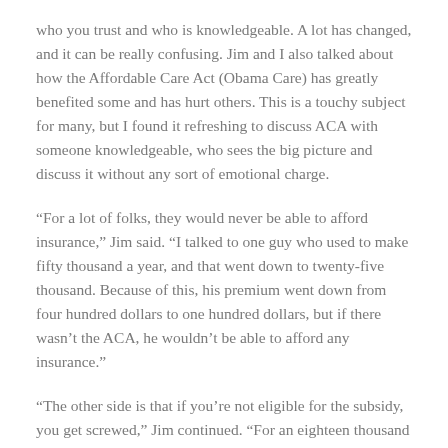who you trust and who is knowledgeable. A lot has changed, and it can be really confusing. Jim and I also talked about how the Affordable Care Act (Obama Care) has greatly benefited some and has hurt others. This is a touchy subject for many, but I found it refreshing to discuss ACA with someone knowledgeable, who sees the big picture and discuss it without any sort of emotional charge.
“For a lot of folks, they would never be able to afford insurance,” Jim said. “I talked to one guy who used to make fifty thousand a year, and that went down to twenty-five thousand. Because of this, his premium went down from four hundred dollars to one hundred dollars, but if there wasn’t the ACA, he wouldn’t be able to afford any insurance.”
“The other side is that if you’re not eligible for the subsidy, you get screwed,” Jim continued. “For an eighteen thousand a year premium, it’s a thirteen